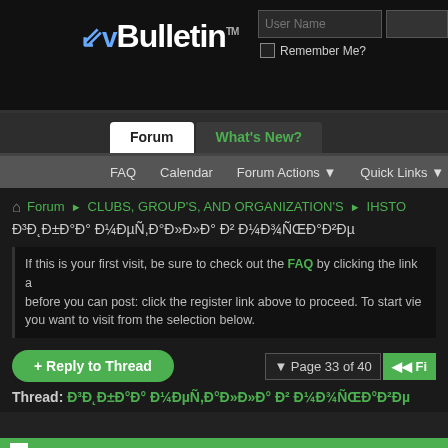[Figure (screenshot): vBulletin forum logo in top left header area]
User Name | Remember Me?
Forum | What's New?
FAQ | Calendar | Forum Actions | Quick Links
Forum ► CLUBS, GROUP'S, AND ORGANIZATION'S ► IHSTO
Đ³Đ˛Đ±Đ°Đ° Đ¼ĐµÑ‚Đ°Đ»Đ»Đ° Đ² Đ¼Đ¾ÑŒĐ°Đ²Đµ
If this is your first visit, be sure to check out the FAQ by clicking the link above before you can post: click the register link above to proceed. To start view you want to visit from the selection below.
+ Reply to Thread
Page 33 of 40
Thread: Đ³Đ˛Đ±Đ°Đ° Đ¼ĐµÑ‚Đ°Đ»Đ»Đ° Đ² Đ¼Đ¾ÑŒĐ°Đ²Đµ
04-17-2022
whitneyym1 • Senior Member
Best Nude Playmates & Centerfolds, Beautiful galleri